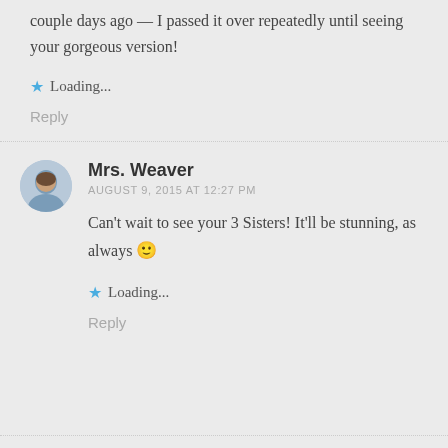couple days ago — I passed it over repeatedly until seeing your gorgeous version!
Loading...
Reply
Mrs. Weaver
AUGUST 9, 2015 AT 12:27 PM
Can't wait to see your 3 Sisters! It'll be stunning, as always 🙂
Loading...
Reply